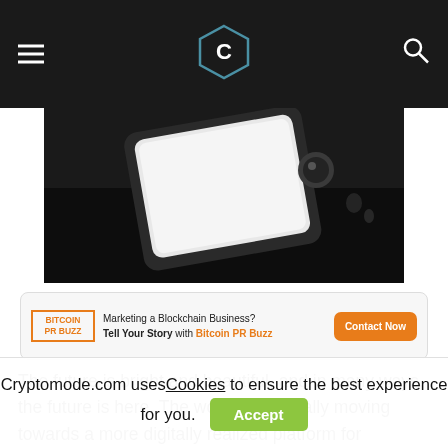CryptoMode navigation bar with logo
[Figure (photo): Close-up dark photograph of a smartphone lying on a dark surface, partially showing screen]
[Figure (infographic): Bitcoin PR Buzz advertisement banner: 'Marketing a Blockchain Business? Tell Your Story with Bitcoin PR Buzz' with Contact Now button]
The future is bright and beautiful, and in many ways, the future is here. The world is gradually moving towards a more digitally realized platform for everything from business to pleasure and entertainment all the way to finances. Digital currencies, known as Crypto, have not lost any steam over
Cryptomode.com uses Cookies to ensure the best experience for you.